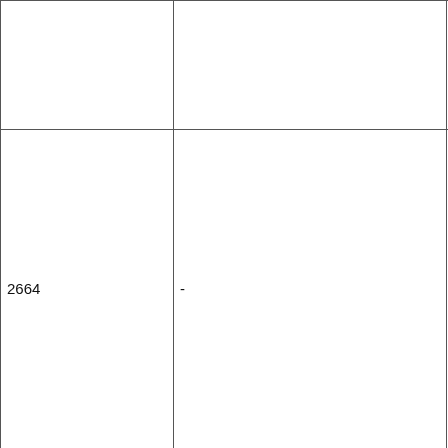|  |  | Landsvals
Marinna
Wantiool |
| 2664 | - | Ardlethan
Ariah Park
Barellan
Beckom
Bectric
Binya
Kamarah
Mirrool
Moombooldo
Mount Crysta
Tara
Walleroobie |
|  |  | Ardlethan
Ariah Park
Barellan
Beckom |